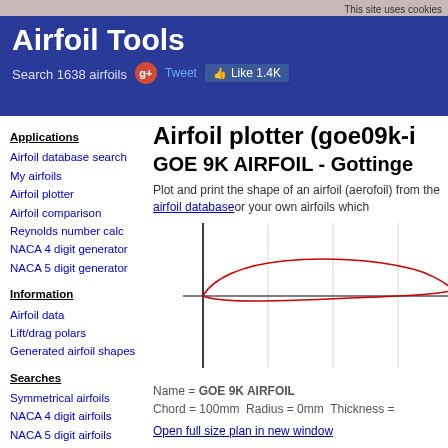This site uses cookies
Airfoil Tools — Search 1638 airfoils
Airfoil plotter (goe09k-i...
GOE 9K AIRFOIL - Gottinge...
Plot and print the shape of an airfoil (aerofoil) from the airfoil database or your own airfoils which...
[Figure (engineering-diagram): Airfoil profile plot of GOE 9K AIRFOIL showing a thin cambered airfoil shape in red outline on a grid with vertical green gridlines and horizontal black axis line]
Name = GOE 9K AIRFOIL
Chord = 100mm Radius = 0mm Thickness =
Open full size plan in new window
Applications
Airfoil database search
My airfoils
Airfoil plotter
Airfoil comparison
Reynolds number calc
NACA 4 digit generator
NACA 5 digit generator
Information
Airfoil data
Lift/drag polars
Generated airfoil shapes
Searches
Symmetrical airfoils
NACA 4 digit airfoils
NACA 5 digit airfoils
NACA 6 series airfoils
Airfoils A to Z
A a18 to avistar (88)
B b29root to bw3 (22)